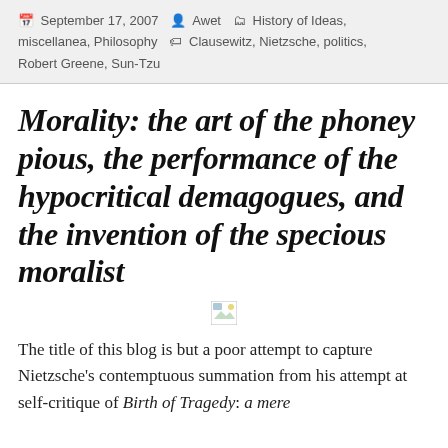September 17, 2007  Awet  History of Ideas, miscellanea, Philosophy  Clausewitz, Nietzsche, politics, Robert Greene, Sun-Tzu
Morality: the art of the phoney pious, the performance of the hypocritical demagogues, and the invention of the specious moralist
[Figure (photo): Broken/missing image placeholder (small icon with image symbol)]
The title of this blog is but a poor attempt to capture Nietzsche's contemptuous summation from his attempt at self-critique of Birth of Tragedy: a mere